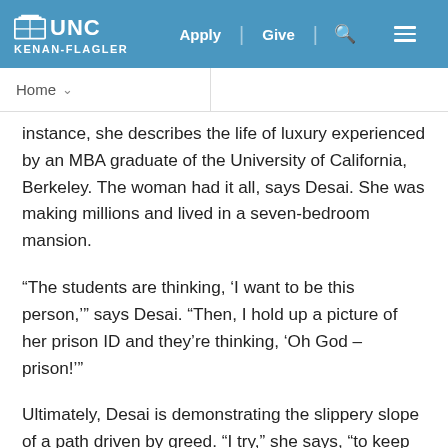UNC Kenan-Flagler | Apply | Give
instance, she describes the life of luxury experienced by an MBA graduate of the University of California, Berkeley. The woman had it all, says Desai. She was making millions and lived in a seven-bedroom mansion.
“The students are thinking, ‘I want to be this person,’” says Desai. “Then, I hold up a picture of her prison ID and they’re thinking, ‘Oh God – prison!’”
Ultimately, Desai is demonstrating the slippery slope of a path driven by greed. “I try,” she says, “to keep things very real.”